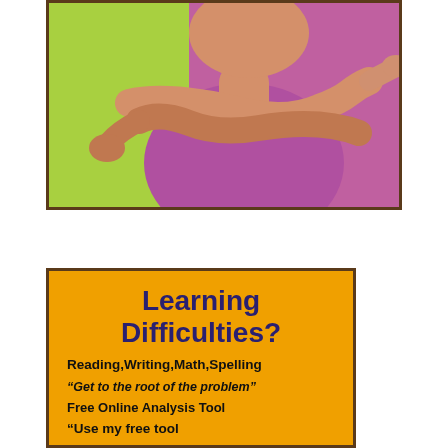[Figure (photo): Photo of a person with arms crossed, wearing a purple top, against a lime green background. Framed with a dark brown border.]
Learning Difficulties?
Reading,Writing,Math,Spelling
“Get to the root of the problem”
Free Online Analysis Tool
“Use my free tool